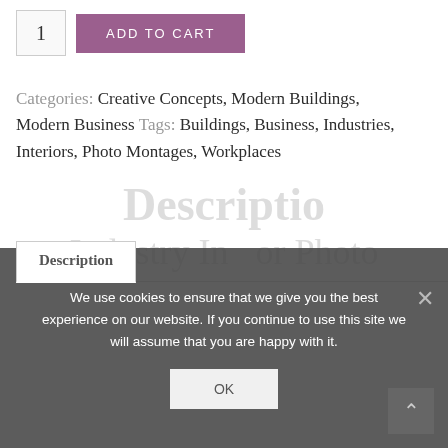1
ADD TO CART
Categories: Creative Concepts, Modern Buildings, Modern Business Tags: Buildings, Business, Industries, Interiors, Photo Montages, Workplaces
Description
We use cookies to ensure that we give you the best experience on our website. If you continue to use this site we will assume that you are happy with it.
OK
Description
Industry In or Photo